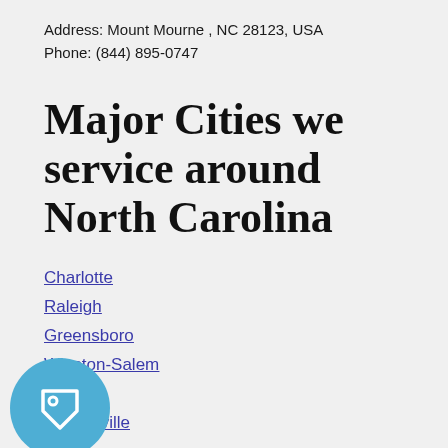Address: Mount Mourne , NC 28123, USA
Phone: (844) 895-0747
Major Cities we service around North Carolina
Charlotte
Raleigh
Greensboro
Winston-Salem
Durham
Fayetteville